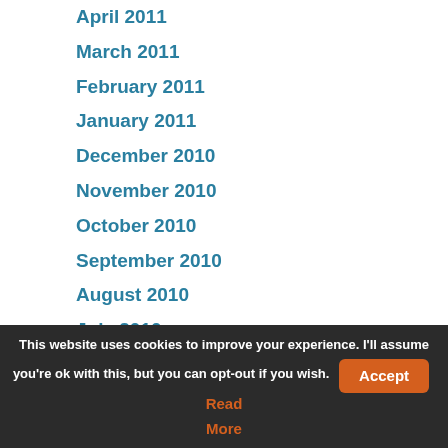April 2011
March 2011
February 2011
January 2011
December 2010
November 2010
October 2010
September 2010
August 2010
July 2010
June 2010
May 2010
April 2010
March 2010
February 2010
January 2010
December 2009
November 2009
This website uses cookies to improve your experience. I'll assume you're ok with this, but you can opt-out if you wish. Accept Read More